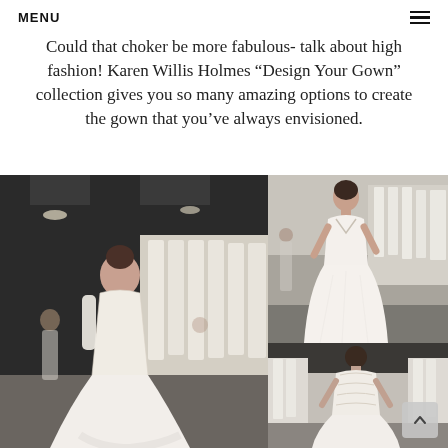MENU
Could that choker be more fabulous- talk about high fashion! Karen Willis Holmes “Design Your Gown” collection gives you so many amazing options to create the gown that you’ve always envisioned.
[Figure (photo): Three photos of women in bridal gowns at what appears to be a bridal exhibition or showroom. Left large photo shows a woman in a fitted lace gown with long sleeves from behind, surrounded by dresses on racks. Top right photo shows a woman in a flowy v-neck bridal gown standing in the same showroom. Bottom right photo shows the back view of a woman in a detailed bridal gown.]